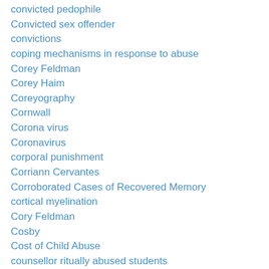convicted pedophile
Convicted sex offender
convictions
coping mechanisms in response to abuse
Corey Feldman
Corey Haim
Coreyography
Cornwall
Corona virus
Coronavirus
corporal punishment
Corriann Cervantes
Corroborated Cases of Recovered Memory
cortical myelination
Cory Feldman
Cosby
Cost of Child Abuse
counsellor ritually abused students
Country Walk case
Country Walk trial